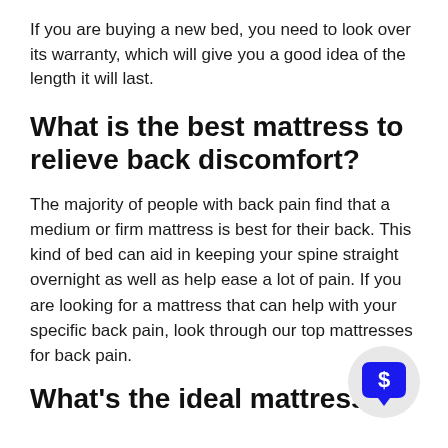If you are buying a new bed, you need to look over its warranty, which will give you a good idea of the length it will last.
What is the best mattress to relieve back discomfort?
The majority of people with back pain find that a medium or firm mattress is best for their back. This kind of bed can aid in keeping your spine straight overnight as well as help ease a lot of pain. If you are looking for a mattress that can help with your specific back pain, look through our top mattresses for back pain.
[Figure (illustration): A dark blue speech bubble icon with a dollar sign symbol in the center, on a light gray circular background.]
What's the ideal mattress